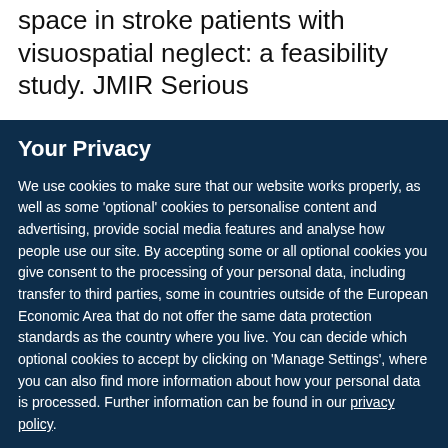space in stroke patients with visuospatial neglect: a feasibility study. JMIR Serious
Your Privacy
We use cookies to make sure that our website works properly, as well as some 'optional' cookies to personalise content and advertising, provide social media features and analyse how people use our site. By accepting some or all optional cookies you give consent to the processing of your personal data, including transfer to third parties, some in countries outside of the European Economic Area that do not offer the same data protection standards as the country where you live. You can decide which optional cookies to accept by clicking on 'Manage Settings', where you can also find more information about how your personal data is processed. Further information can be found in our privacy policy.
Accept all cookies
Manage preferences